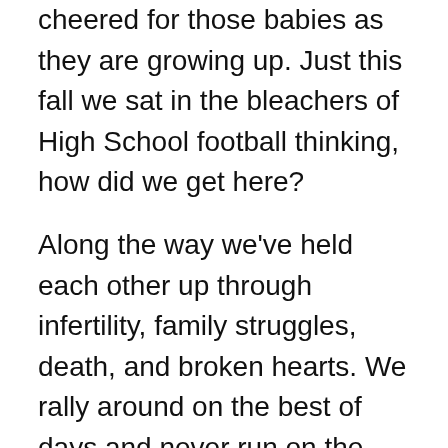50th and 70th birthdays, held new babies and cheered for those babies as they are growing up. Just this fall we sat in the bleachers of High School football thinking, how did we get here?
Along the way we’ve held each other up through infertility, family struggles, death, and broken hearts. We rally around on the best of days and never run on the hardest of days. We show up. We stand proudly beside each other. We cheer each other on. We don’t compete.
Friendships like these are few and far between, sometimes like our visits. Though even if months go by, never more than a couple of days go by without thinking of one another.